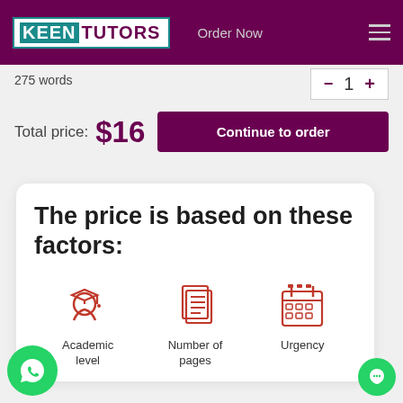KEENTUTORS | Order Now
275 words
Total price: $16
Continue to order
The price is based on these factors:
Academic level
Number of pages
Urgency